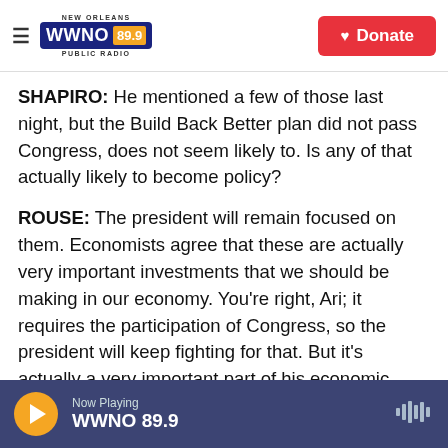WWNO 89.9 New Orleans Public Radio — Donate
SHAPIRO: He mentioned a few of those last night, but the Build Back Better plan did not pass Congress, does not seem likely to. Is any of that actually likely to become policy?
ROUSE: The president will remain focused on them. Economists agree that these are actually very important investments that we should be making in our economy. You're right, Ari; it requires the participation of Congress, so the president will keep fighting for that. But it's actually a very important part of his economic strategy.
Now Playing WWNO 89.9